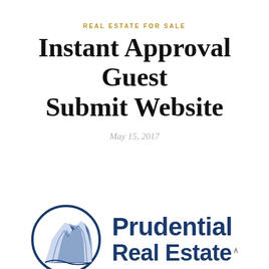REAL ESTATE FOR SALE
Instant Approval Guest Submit Website
May 15, 2017
[Figure (logo): Prudential Real Estate logo: a blue circle with a stylized rock/mountain figure, next to bold blue text reading 'Prudential Real Estate']